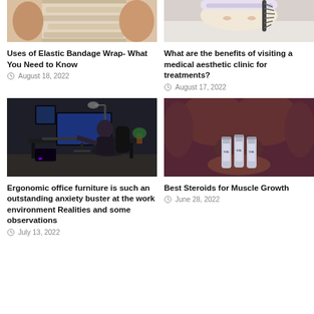[Figure (photo): Person wrapping elastic bandage around knee/leg]
Uses of Elastic Bandage Wrap- What You Need to Know
August 18, 2022
[Figure (photo): Person lying down receiving medical aesthetic treatment on face]
What are the benefits of visiting a medical aesthetic clinic for treatments?
August 17, 2022
[Figure (photo): Person sitting at ergonomic office desk with gaming/work setup]
Ergonomic office furniture is such an outstanding anxiety buster at the work environment Realities and some observations
July 13, 2022
[Figure (photo): Muscular torso holding steroid vials]
Best Steroids for Muscle Growth
June 28, 2022